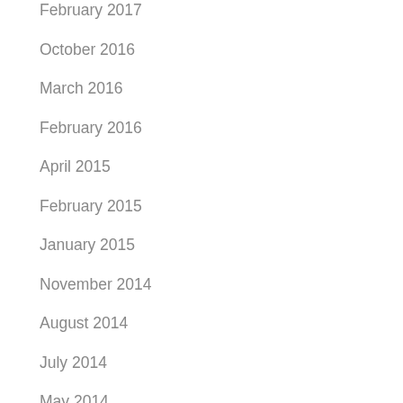February 2017
October 2016
March 2016
February 2016
April 2015
February 2015
January 2015
November 2014
August 2014
July 2014
May 2014
March 2014
February 2014
December 2013
November 2013